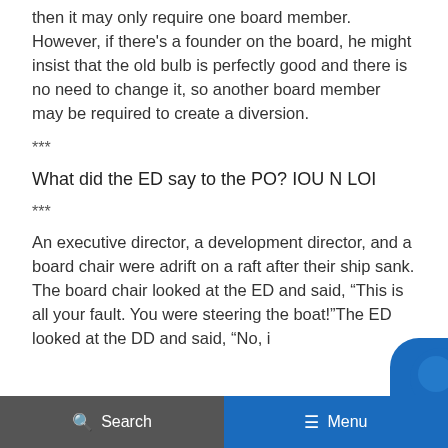then it may only require one board member. However, if there's a founder on the board, he might insist that the old bulb is perfectly good and there is no need to change it, so another board member may be required to create a diversion.
***
What did the ED say to the PO? IOU N LOI
***
An executive director, a development director, and a board chair were adrift on a raft after their ship sank. The board chair looked at the ED and said, “This is all your fault. You were steering the boat!”The ED looked at the DD and said, “No, i
Search   Menu